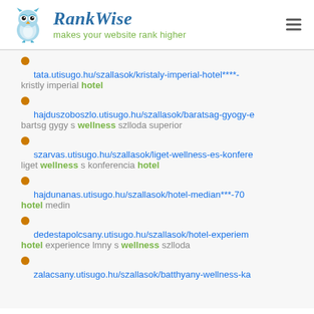RankWise — makes your website rank higher
tata.utisugo.hu/szallasok/kristaly-imperial-hotel****- | kristly imperial hotel
hajduszoboszlo.utisugo.hu/szallasok/baratsag-gyogy-e | bartsg gygy s wellness szlloda superior
szarvas.utisugo.hu/szallasok/liget-wellness-es-konfere | liget wellness s konferencia hotel
hajdunanas.utisugo.hu/szallasok/hotel-median***-70 | hotel medin
dedestapolcsany.utisugo.hu/szallasok/hotel-experiem | hotel experience lmny s wellness szlloda
zalacsany.utisugo.hu/szallasok/batthyany-wellness-ka